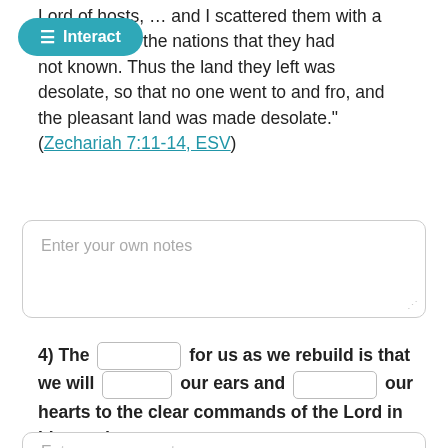Lord of hosts, … and I scattered them with a whirlwind among all the nations that they had not known. Thus the land they left was desolate, so that no one went to and fro, and the pleasant land was made desolate." (Zechariah 7:11-14, ESV)
Enter your own notes
4) The [blank] for us as we rebuild is that we will [blank] our ears and [blank] our hearts to the clear commands of the Lord in his word.
Enter your own notes